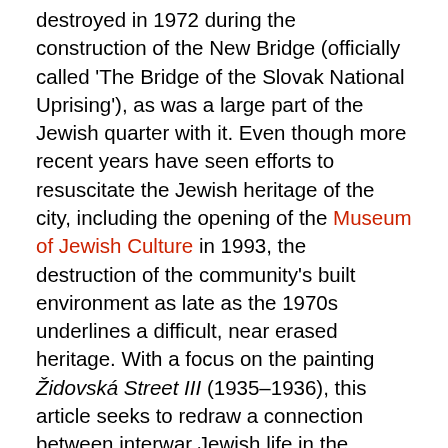destroyed in 1972 during the construction of the New Bridge (officially called 'The Bridge of the Slovak National Uprising'), as was a large part of the Jewish quarter with it. Even though more recent years have seen efforts to resuscitate the Jewish heritage of the city, including the opening of the Museum of Jewish Culture in 1993, the destruction of the community's built environment as late as the 1970s underlines a difficult, near erased heritage. With a focus on the painting Židovská Street III (1935–1936), this article seeks to redraw a connection between interwar Jewish life in the eastern part of Czechoslovakia (Slovakia and Subcarpathian Ruthenia) and a prominent representative of Slovak modernism: the Jewish-Hungarian-Slovak painter and graphic artist Imrich/Imre/Imro Weiner (later Weiner-Kráľ, 1901–1978).[1] Ultimately, it argues that if we interpret Weiner-Kráľ's work in the light of his Jewish